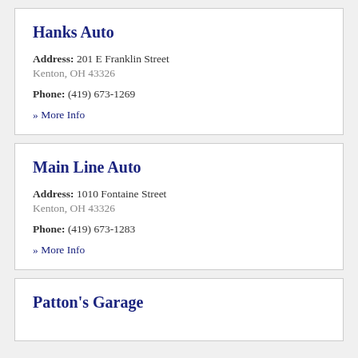Hanks Auto
Address: 201 E Franklin Street
Kenton, OH 43326
Phone: (419) 673-1269
» More Info
Main Line Auto
Address: 1010 Fontaine Street
Kenton, OH 43326
Phone: (419) 673-1283
» More Info
Patton's Garage